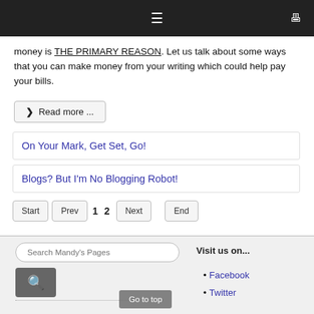Navigation bar with menu and monitor icons
money is THE PRIMARY REASON. Let us talk about some ways that you can make money from your writing which could help pay your bills.
❯ Read more ...
On Your Mark, Get Set, Go!
Blogs? But I'm No Blogging Robot!
Start  Prev  1  2  Next  End
Search Mandy's Pages
Visit us on...
Facebook
Twitter
Go to top